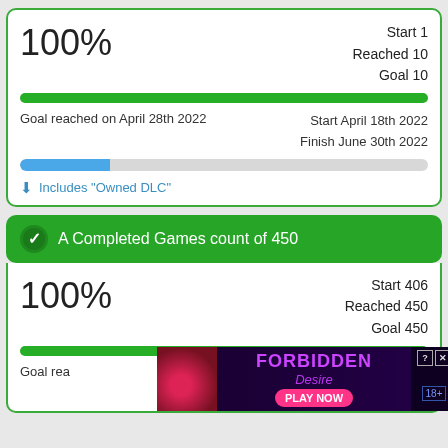100%
Start 1
Reached 10
Goal 10
[Figure (other): Full green progress bar at 100%]
Goal reached on April 28th 2022
Start April 18th 2022
Finish June 30th 2022
[Figure (other): Partial blue progress bar approximately 22% filled]
Includes "Owned DLC"
A Completed Games count of 450
100%
Start 406
Reached 450
Goal 450
[Figure (other): Full green progress bar at 100%]
Goal rea...
...8th 2021
...31st 2022
[Figure (other): Advertisement overlay for Forbidden Desire game with PLAY NOW button and 18+ badge]